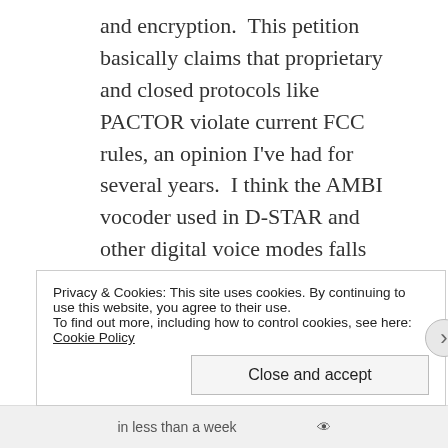and encryption.  This petition basically claims that proprietary and closed protocols like PACTOR violate current FCC rules, an opinion I've had for several years.  I think the AMBI vocoder used in D-STAR and other digital voice modes falls into the same category as well as it's not openly documented, like the rules require.  Due to the lack of documentation and openness, such encoding is de facto encryption, which is prohibited.
ARRL's filing has me smacking my head.  Rather
Privacy & Cookies: This site uses cookies. By continuing to use this website, you agree to their use.
To find out more, including how to control cookies, see here: Cookie Policy
Close and accept